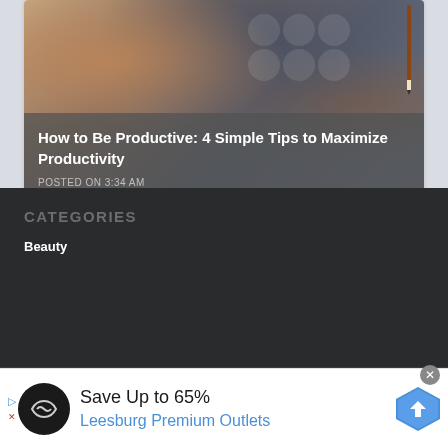[Figure (photo): Blog post card with background photo showing coffee cup, notebook, pencil and stationery items on a desk, with a semi-transparent dark overlay containing the post title and timestamp.]
How to Be Productive: 4 Simple Tips to Maximize Productivity
POSTED ON 3:34 AM
CATEGORIES
Beauty
[Figure (infographic): Advertisement banner: Save Up to 65% - Leesburg Premium Outlets, with logo and navigation arrow icon]